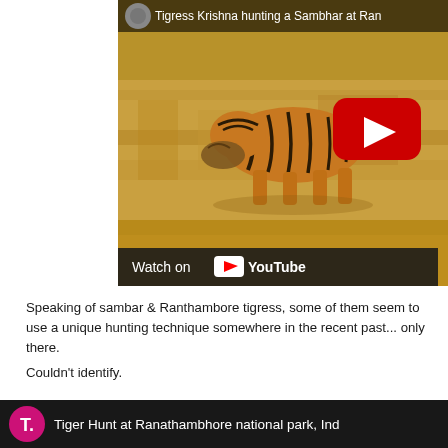[Figure (screenshot): YouTube video thumbnail showing a tiger (Tigress Krishna) hunting a Sambhar in dry grassland at Ranthambore. Title bar at top reads 'Tigress Krishna hunting a Sambhar at Ran...'. Red YouTube play button in center. 'Watch on YouTube' bar at bottom.]
Speaking of sambar & Ranthambore tigress, some of them seem to use a unique hunting technique somewhere in the recent past... only there.
Couldn't identify.
[Figure (screenshot): YouTube video thumbnail with dark background, pink/magenta circle with letter T on the left, and title text 'Tiger Hunt at Ranathambhore national park, Ind...' in white.]